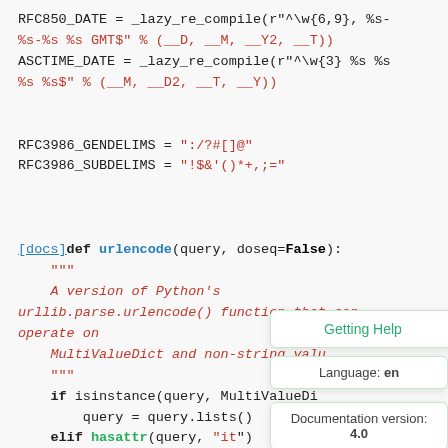[Figure (screenshot): Python source code screenshot showing RFC850_DATE and ASCTIME_DATE regex compilations, RFC3986_GENDELIMS and RFC3986_SUBDELIMS string constants, and the beginning of a urlencode() function definition with docstring and body. Overlaid tooltips show 'Getting Help', 'Language: en', and 'Documentation version: 4.0'.]